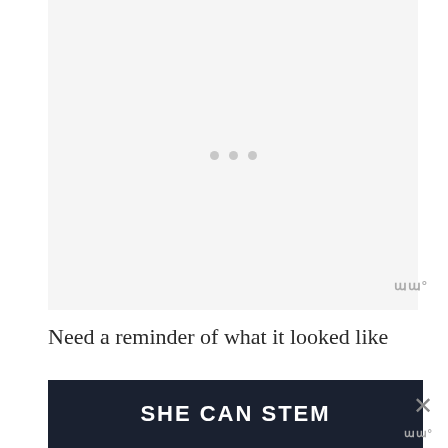[Figure (other): Light grey placeholder image area with three small grey dots centered, indicating loading or missing content]
Need a reminder of what it looked like before?  Here ya go.
[Figure (other): Dark navy advertisement banner with white bold text reading SHE CAN STEM]